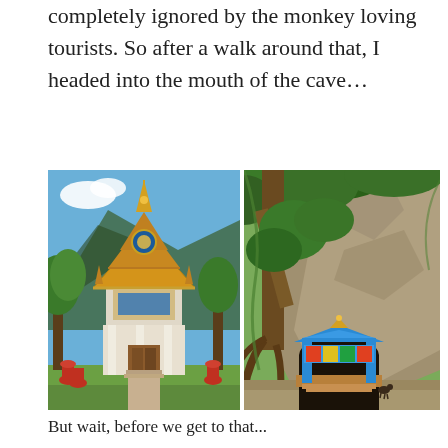completely ignored by the monkey loving tourists. So after a walk around that, I headed into the mouth of the cave…
[Figure (photo): Thai Buddhist temple with ornate golden roof and blue decorations, surrounded by green trees with a mountain in the background, red decorative urns in the foreground.]
[Figure (photo): Cave entrance with a small colorful shrine/gate decorated in blue and gold, large tree roots and rocky cliff face, lush green canopy above, small dog visible on the path.]
But wait, before we get to that...